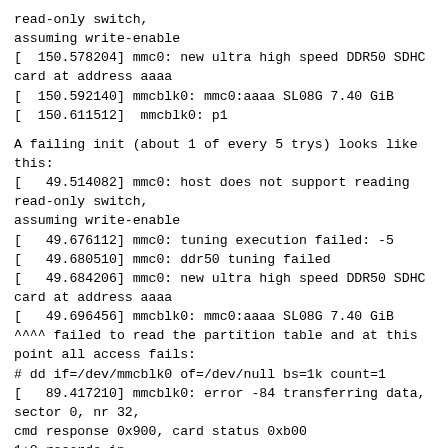read-only switch,
assuming write-enable
[  150.578204] mmc0: new ultra high speed DDR50 SDHC card at address aaaa
[  150.592140] mmcblk0: mmc0:aaaa SL08G 7.40 GiB
[  150.611512]  mmcblk0: p1
A failing init (about 1 of every 5 trys) looks like this:
[   49.514082] mmc0: host does not support reading read-only switch,
assuming write-enable
[   49.676112] mmc0: tuning execution failed: -5
[   49.680510] mmc0: ddr50 tuning failed
[   49.684206] mmc0: new ultra high speed DDR50 SDHC card at address aaaa
[   49.696456] mmcblk0: mmc0:aaaa SL08G 7.40 GiB
^^^^ failed to read the partition table and at this point all access fails:
# dd if=/dev/mmcblk0 of=/dev/null bs=1k count=1
[   89.417210] mmcblk0: error -84 transferring data, sector 0, nr 32,
cmd response 0x900, card status 0xb00
1+0 records in
1+0 records out
1024 bytes (1.0 kB, 1.0 KiB) copied, 0.1227 s, 8.3 kB/s
I know the issue started occurring in Linux v4.4 but I also have heard
there are some tuning patches in the queue so before I